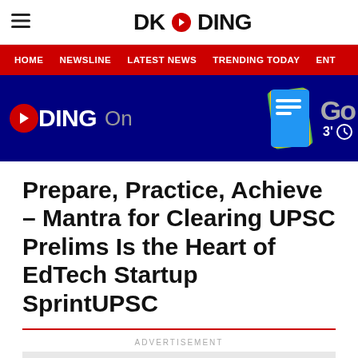DKODING
HOME | NEWSLINE | LATEST NEWS | TRENDING TODAY | ENT
[Figure (screenshot): DKODING On banner with dark blue background, Google News icon and Google logo visible on right, partial ODING On text on left with play button circle]
Prepare, Practice, Achieve – Mantra for Clearing UPSC Prelims Is the Heart of EdTech Startup SprintUPSC
ADVERTISEMENT